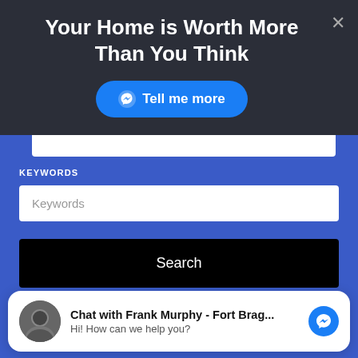Your Home is Worth More Than You Think
[Figure (screenshot): Blue 'Tell me more' button with Messenger icon]
KEYWORDS
[Figure (screenshot): Keywords input text field]
[Figure (screenshot): Black Search button]
Chat with Frank Murphy - Fort Brag...
Hi! How can we help you?